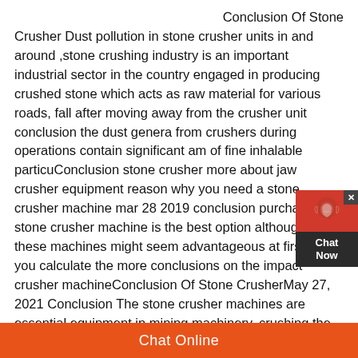Conclusion Of Stone Crusher Dust pollution in stone crusher units in and around ,stone crushing industry is an important industrial sector in the country engaged in producing crushed stone which acts as raw material for various roads, fall after moving away from the crusher unit conclusion the dust generated from crushers during operations contain significant amounts of fine inhalable particuConclusion stone crusher more about jaw crusher equipment reason why you need a stone crusher machine mar 28 2019 conclusion purchase a stone crusher machine is the best option although hiring these machines might seem advantageous at first but if you calculate the more conclusions on the impact crusher machineConclusion Of Stone CrusherMay 27, 2021 Conclusion The stone crusher machines are essential equipment in mining machinery, crushing the stone to meet the required size I believe that through the above specific
[Figure (other): Chat widget with red icon area showing headset silhouette, dark background with 'Chat Now' text, and a close X button]
Chat Online